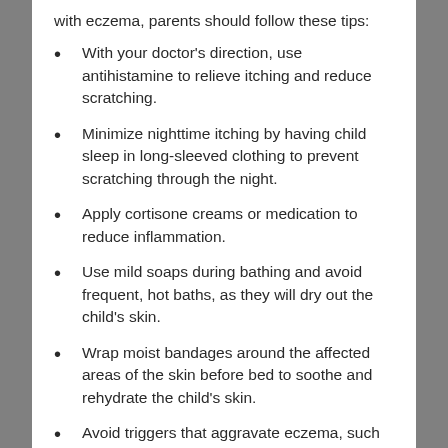with eczema, parents should follow these tips:
With your doctor's direction, use antihistamine to relieve itching and reduce scratching.
Minimize nighttime itching by having child sleep in long-sleeved clothing to prevent scratching through the night.
Apply cortisone creams or medication to reduce inflammation.
Use mild soaps during bathing and avoid frequent, hot baths, as they will dry out the child's skin.
Wrap moist bandages around the affected areas of the skin before bed to soothe and rehydrate the child's skin.
Avoid triggers that aggravate eczema, such as rapid changes in temperatures or seasonal allergies.